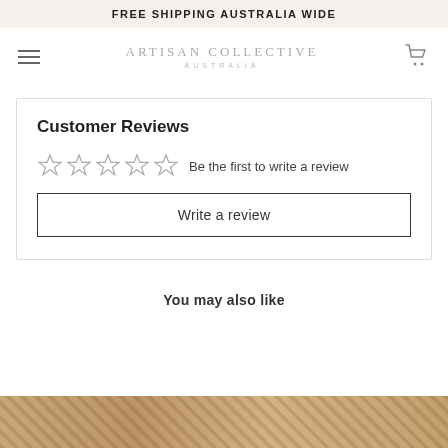FREE SHIPPING AUSTRALIA WIDE
[Figure (logo): Artisan Collective Australia logo with hamburger menu and cart icon]
Customer Reviews
Be the first to write a review
Write a review
You may also like
[Figure (photo): Product image strip at bottom of page]